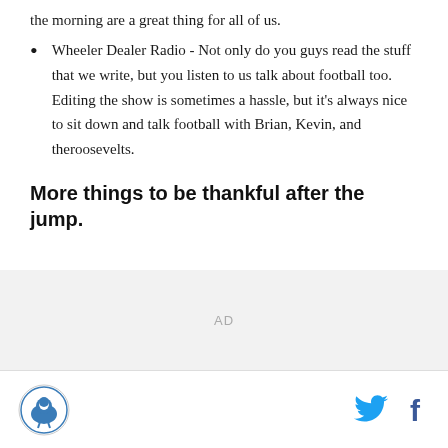the morning are a great thing for all of us.
Wheeler Dealer Radio - Not only do you guys read the stuff that we write, but you listen to us talk about football too. Editing the show is sometimes a hassle, but it's always nice to sit down and talk football with Brian, Kevin, and theroosevelts.
More things to be thankful after the jump.
[Figure (other): Advertisement placeholder (AD)]
Logo icon | Twitter icon | Facebook icon